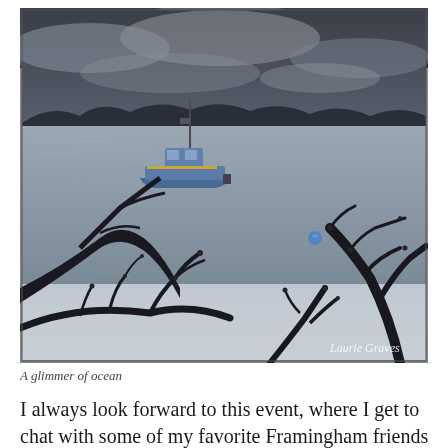[Figure (photo): A photograph of a small blue boat on calm water, viewed through bare winter tree branches in the foreground. The water reflects a gray overcast sky. A bird is visible in the upper portion. A watermark reading 'Laurie Graves' appears in the lower right of the image.]
A glimmer of ocean
I always look forward to this event, where I get to chat with some of my favoriteFramingham friends about this...